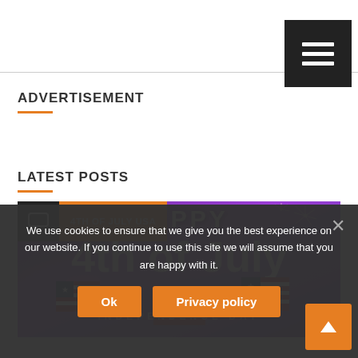[Figure (screenshot): Top navigation bar area with white background]
[Figure (other): Black hamburger/menu button with three horizontal white lines]
ADVERTISEMENT
LATEST POSTS
[Figure (photo): 4th of July USA Independence Day promotional image on purple/violet background with fireworks and American flags. Text reads: HAPPY, 4TH OF JULY USA (orange tag), 4th of July (large white text), INDEPENDENCE DAY]
We use cookies to ensure that we give you the best experience on our website. If you continue to use this site we will assume that you are happy with it.
Ok
Privacy policy